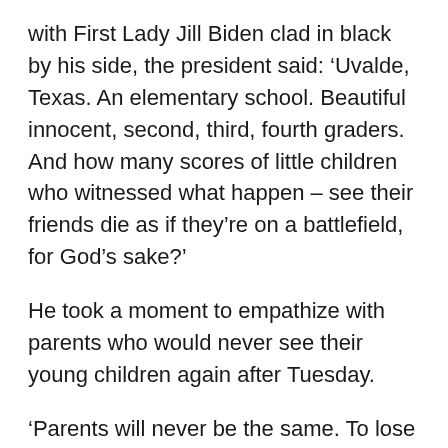with First Lady Jill Biden clad in black by his side, the president said: ‘Uvalde, Texas. An elementary school. Beautiful innocent, second, third, fourth graders. And how many scores of little children who witnessed what happen – see their friends die as if they’re on a battlefield, for God’s sake?’
He took a moment to empathize with parents who would never see their young children again after Tuesday.
‘Parents will never be the same. To lose a child, it’s like having a piece of your soul ripped away,’ said the president, who lost his son Beau Biden to brain cancer in 2015.